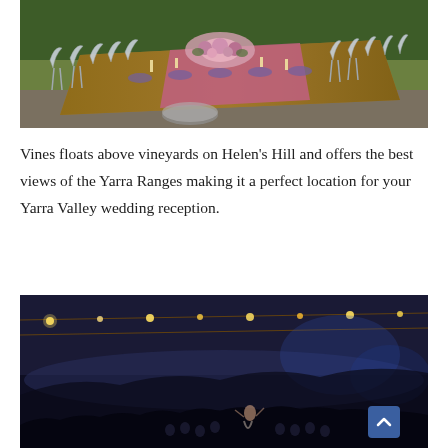[Figure (photo): Outdoor wedding reception table decorated with flowers, candles, and purple table runners, lined with white chairs on both sides]
Vines floats above vineyards on Helen's Hill and offers the best views of the Yarra Ranges making it a perfect location for your Yarra Valley wedding reception.
[Figure (photo): Nighttime outdoor event scene with string lights and crowd, overlaid with a Facebook Rating card showing 5.0 stars based on 247 reviews]